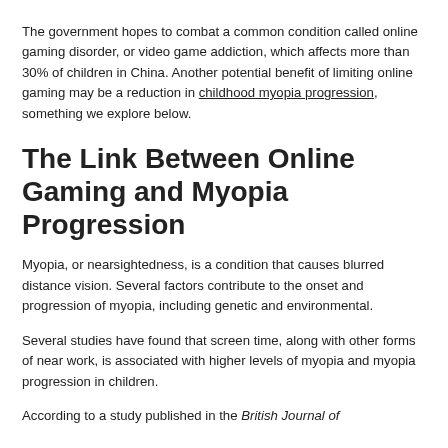The government hopes to combat a common condition called online gaming disorder, or video game addiction, which affects more than 30% of children in China. Another potential benefit of limiting online gaming may be a reduction in childhood myopia progression, something we explore below.
The Link Between Online Gaming and Myopia Progression
Myopia, or nearsightedness, is a condition that causes blurred distance vision. Several factors contribute to the onset and progression of myopia, including genetic and environmental.
Several studies have found that screen time, along with other forms of near work, is associated with higher levels of myopia and myopia progression in children.
According to a study published in the British Journal of